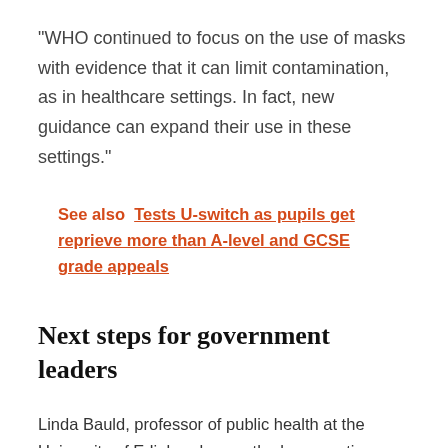“WHO continued to focus on the use of masks with evidence that it can limit contamination, as in healthcare settings. In fact, new guidance can expand their use in these settings.”
See also  Tests U-switch as pupils get reprieve more than A-level and GCSE grade appeals
Next steps for government leaders
Linda Bauld, professor of public health at the University of Edinburgh, now the key question